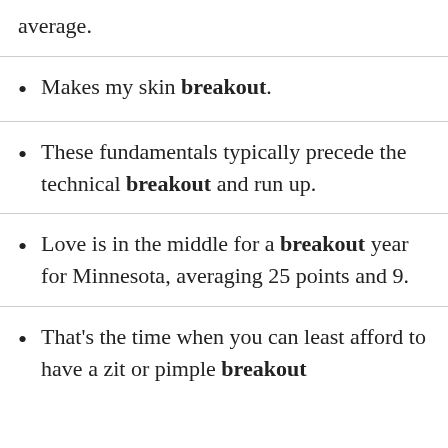average.
Makes my skin breakout.
These fundamentals typically precede the technical breakout and run up.
Love is in the middle for a breakout year for Minnesota, averaging 25 points and 9.
That's the time when you can least afford to have a zit or pimple breakout